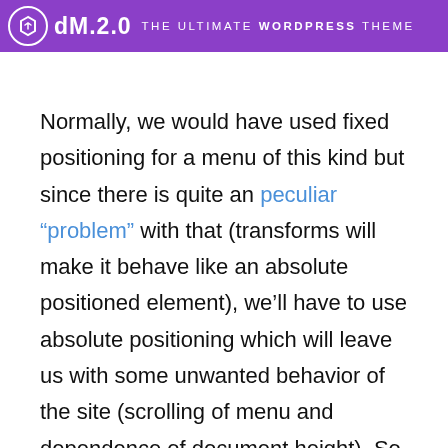dM.2.0 THE ULTIMATE WORDPRESS THEME
Normally, we would have used fixed positioning for a menu of this kind but since there is quite an peculiar “problem” with that (transforms will make it behave like an absolute positioned element), we’ll have to use absolute positioning which will leave us with some unwanted behavior of the site (scrolling of menu and dependence of document height). So we’ve used a little trick to avoid the menu being scrollable or to be cut off if the site’s content is too short by